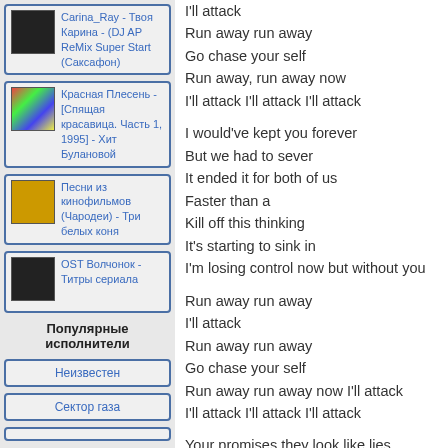Carina_Ray - Твоя Карина - (DJ AP ReMix Super Start (Саксафон)
Красная Плесень - [Спящая красавица. Часть 1, 1995] - Хит Булановой
Песни из кинофильмов (Чародеи) - Три белых коня
OST Волчонок - Титры сериала
Популярные исполнители
Неизвестен
Сектор газа
I'll attack
Run away run away
Go chase your self
Run away, run away now
I'll attack I'll attack I'll attack

I would've kept you forever
But we had to sever
It ended it for both of us
Faster than a
Kill off this thinking
It's starting to sink in
I'm losing control now but without you

Run away run away
I'll attack
Run away run away
Go chase your self
Run away run away now I'll attack
I'll attack I'll attack I'll attack

Your promises they look like lies
Your honesty like a back that hides a
I promise you
I promise you